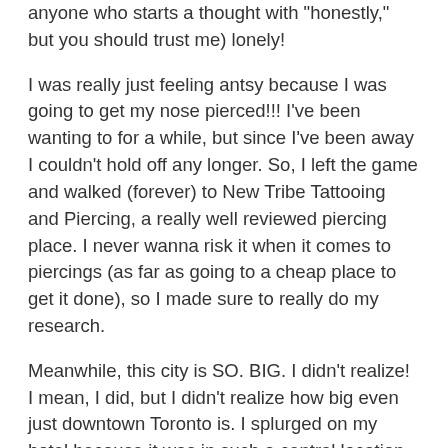anyone who starts a thought with 'honestly,' but you should trust me) lonely!
I was really just feeling antsy because I was going to get my nose pierced!!! I've been wanting to for a while, but since I've been away I couldn't hold off any longer. So, I left the game and walked (forever) to New Tribe Tattooing and Piercing, a really well reviewed piercing place. I never wanna risk it when it comes to piercings (as far as going to a cheap place to get it done), so I made sure to really do my research.
Meanwhile, this city is SO. BIG. I didn't realize! I mean, I did, but I didn't realize how big even just downtown Toronto is. I splurged on my hotel because it was in such a central location. And it is, but it still takes at least 25 minutes to walk anywhere. It didn't get in the way of my trip at all because I timed everything out so that I'd have…